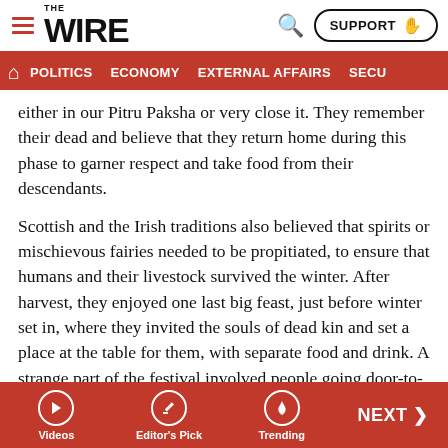THE WIRE — SUPPORT | POLITICS | ECONOMY | EXTERNAL AFFAIRS | SECU...
(continued) either in our Pitru Paksha or very close it. They remember their dead and believe that they return home during this phase to garner respect and take food from their descendants.
Scottish and the Irish traditions also believed that spirits or mischievous fairies needed to be propitiated, to ensure that humans and their livestock survived the winter. After harvest, they enjoyed one last big feast, just before winter set in, where they invited the souls of dead kin and set a place at the table for them, with separate food and drink. A strange part of the festival involved people going door-to-door in costumes or in disguise, often reciting verses, in
Videos | Editor's Pick | Trending | NEXT >